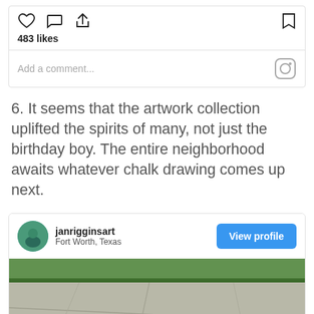[Figure (screenshot): Instagram post interaction bar with heart, comment, share icons and bookmark icon; 483 likes text; Add a comment field with Instagram camera icon]
6. It seems that the artwork collection uplifted the spirits of many, not just the birthday boy. The entire neighborhood awaits whatever chalk drawing comes up next.
[Figure (screenshot): Instagram profile card for janrigginsart, Fort Worth, Texas with View profile button and photo of sidewalk/pavement with grass edge]